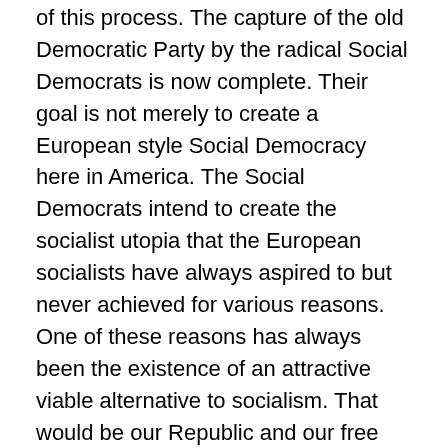of this process. The capture of the old Democratic Party by the radical Social Democrats is now complete. Their goal is not merely to create a European style Social Democracy here in America. The Social Democrats intend to create the socialist utopia that the European socialists have always aspired to but never achieved for various reasons. One of these reasons has always been the existence of an attractive viable alternative to socialism. That would be our Republic and our free market economy. Some say we are at a fork in the road or perhaps a crossroads. I submit that we are at THE fork in the road and time is short. If we do not expel these Progressivists from our body politic and keep them out forever starting in 2010 it may be too late. If freedom and democracy fails here it will ultimately fail everywhere.
When, how and where does Liberty meet its end? I don't